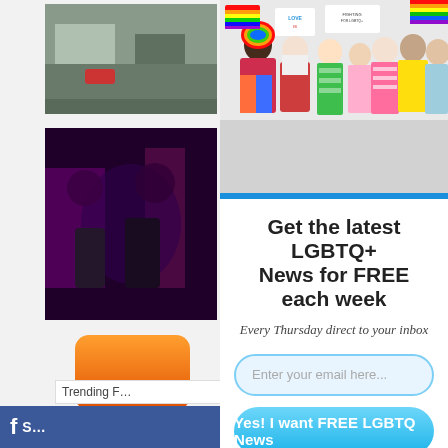[Figure (photo): Small photo of a street scene with a car, top-left thumbnail]
[Figure (photo): Photo of people at a nightclub/bar with neon lights, left column]
[Figure (photo): Large hero photo of a diverse group of people in colorful LGBTQ+ pride attire holding signs and flags]
Get the latest LGBTQ+ News for FREE each week
Every Thursday direct to your inbox
Enter your email here...
Yes! I want FREE LGBTQ News
Trending F…
S…